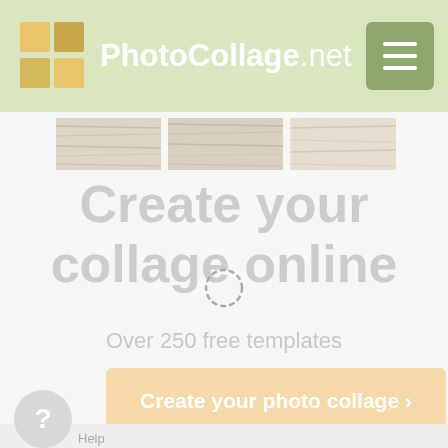PhotoCollage.net
[Figure (screenshot): Website screenshot showing PhotoCollage.net homepage with a collage preview strip at the top, large headline 'Create your collage online', subheadline 'Over 250 free templates', a loading spinner, and a peach/orange CTA button 'Create your photo collage >']
Create your collage online
Over 250 free templates
Create your photo collage >